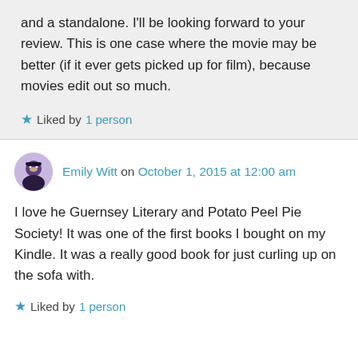and a standalone. I'll be looking forward to your review. This is one case where the movie may be better (if it ever gets picked up for film), because movies edit out so much.
★ Liked by 1 person
Emily Witt on October 1, 2015 at 12:00 am
I love he Guernsey Literary and Potato Peel Pie Society! It was one of the first books I bought on my Kindle. It was a really good book for just curling up on the sofa with.
★ Liked by 1 person